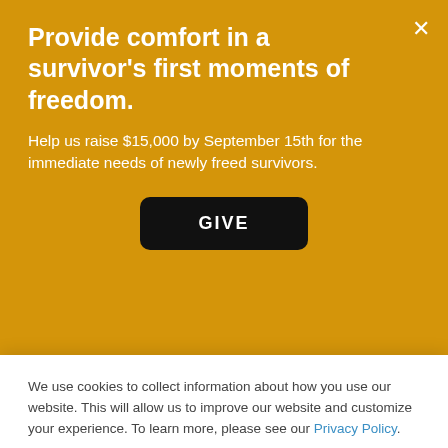Provide comfort in a survivor's first moments of freedom.
Help us raise $15,000 by September 15th for the immediate needs of newly freed survivors.
GIVE
Encourage those around you to be a safe place for the vulnerable, too.
6. USE YOUR VOICE.
We use cookies to collect information about how you use our website. This will allow us to improve our website and customize your experience. To learn more, please see our Privacy Policy.
Ok
Decline